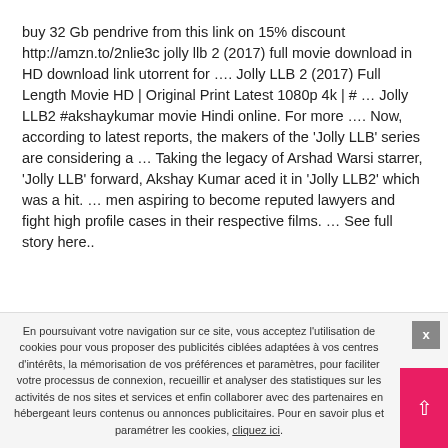buy 32 Gb pendrive from this link on 15% discount http://amzn.to/2nlie3c jolly llb 2 (2017) full movie download in HD download link utorrent for …. Jolly LLB 2 (2017) Full Length Movie HD | Original Print Latest 1080p 4k | # … Jolly LLB2 #akshaykumar movie Hindi online. For more …. Now, according to latest reports, the makers of the 'Jolly LLB' series are considering a … Taking the legacy of Arshad Warsi starrer, 'Jolly LLB' forward, Akshay Kumar aced it in 'Jolly LLB2' which was a hit. … men aspiring to become reputed lawyers and fight high profile cases in their respective films. … See full story here..
En poursuivant votre navigation sur ce site, vous acceptez l'utilisation de cookies pour vous proposer des publicités ciblées adaptées à vos centres d'intérêts, la mémorisation de vos préférences et paramètres, pour faciliter votre processus de connexion, recueillir et analyser des statistiques sur les activités de nos sites et services et enfin collaborer avec des partenaires en hébergeant leurs contenus ou annonces publicitaires. Pour en savoir plus et paramétrer les cookies, cliquez ici.